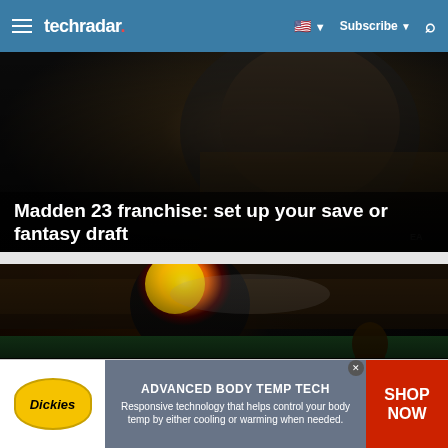techradar
[Figure (photo): Madden 23 game screenshot showing a football player close-up with helmet]
Madden 23 franchise: set up your save or fantasy draft
By Patrick Dane about 13 hours ago
[Figure (photo): Madden 23 game screenshot showing a stadium with pyrotechnics and a player on the field]
Madden 23 relocation: how to start
[Figure (other): Dickies advertisement banner: ADVANCED BODY TEMP TECH - Responsive technology that helps control your body temp by either cooling or warming when needed. SHOP NOW]